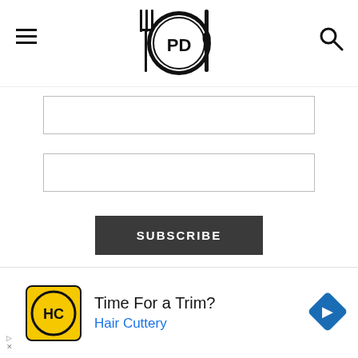PickyDiners.com logo with fork, plate PD, knife icon
[Figure (screenshot): Two empty form input fields for newsletter subscription]
[Figure (screenshot): SUBSCRIBE button in dark gray]
COPYRIGHT © 2022 PICKYDINERS.COM — DESIGNED BY WPZOOM
[Figure (screenshot): Dropdown chevron tab at bottom left]
[Figure (screenshot): Advertisement: Time For a Trim? Hair Cuttery. HC logo yellow circle, blue diamond arrow icon.]